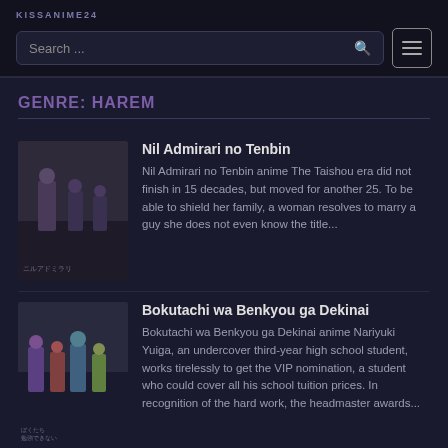KISSANIME24
GENRE: HAREM
Nil Admirari no Tenbin
Nil Admirari no Tenbin anime The Taishou era did not finish in 15 decades, but moved for another 25. To be able to shield her family, a woman resolves to marry a guy she does not even know the title...
Bokutachi wa Benkyou ga Dekinai
Bokutachi wa Benkyou ga Dekinai anime Nariyuki Yuiga, an undercover third-year high school student, works tirelessly to get the VIP nomination, a student who could cover all his school tuition prices. In recognition of the hard work, the headmaster awards...